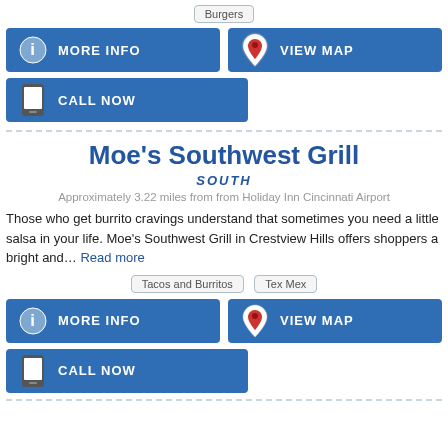Burgers
MORE INFO
VIEW MAP
CALL NOW
Moe's Southwest Grill
SOUTH
Approximately 3.22 miles from from Holiday Inn Cincinnati Airport
Those who get burrito cravings understand that sometimes you need a little salsa in your life. Moe's Southwest Grill in Crestview Hills offers shoppers a bright and... Read more
Tacos and Burritos
Tex Mex
MORE INFO
VIEW MAP
CALL NOW